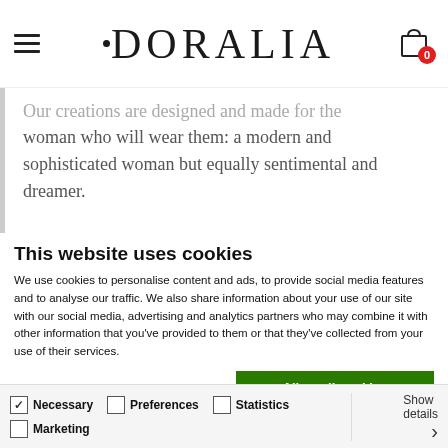DORALIA — navigation bar with hamburger menu and cart icon showing 0 items
Our creations are designed and made for the woman who will wear them: a modern and sophisticated woman but equally sentimental and dreamer.
This website uses cookies
We use cookies to personalise content and ads, to provide social media features and to analyse our traffic. We also share information about your use of our site with our social media, advertising and analytics partners who may combine it with other information that you've provided to them or that they've collected from your use of their services.
Allow all cookies | Allow selection | Use necessary cookies only
Necessary (checked) | Preferences | Statistics | Marketing | Show details